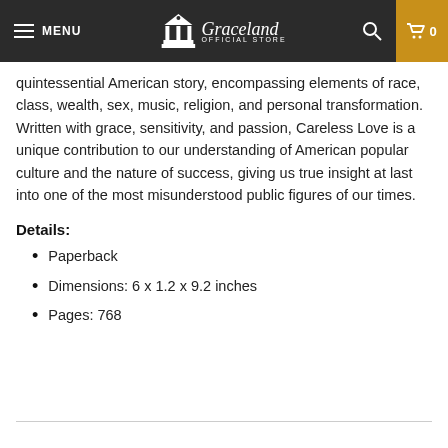MENU | Graceland OFFICIAL STORE | 0
quintessential American story, encompassing elements of race, class, wealth, sex, music, religion, and personal transformation. Written with grace, sensitivity, and passion, Careless Love is a unique contribution to our understanding of American popular culture and the nature of success, giving us true insight at last into one of the most misunderstood public figures of our times.
Details:
Paperback
Dimensions: 6 x 1.2 x 9.2 inches
Pages: 768